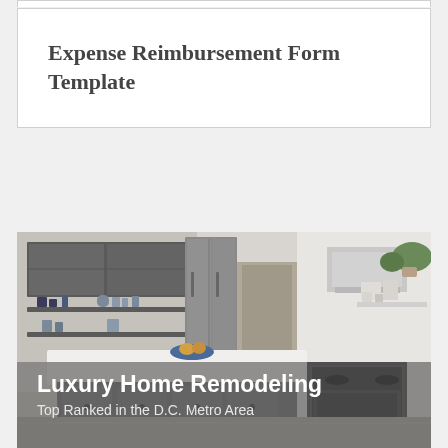Expense Reimbursement Form Template
[Figure (photo): Luxury kitchen remodel with gray cabinetry, white countertops, stainless steel appliances, and open shelving. Text overlay reads 'Luxury Home Remodeling' and 'Top Ranked in the D.C. Metro Area']